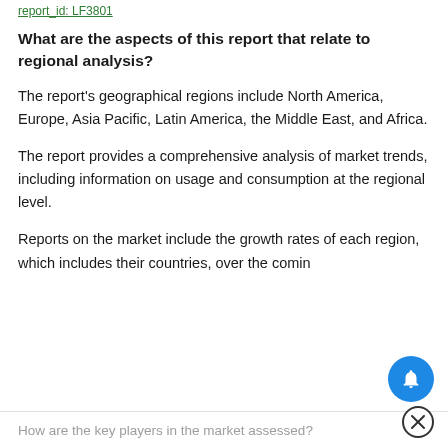report_id: LF3801
What are the aspects of this report that relate to regional analysis?
The report's geographical regions include North America, Europe, Asia Pacific, Latin America, the Middle East, and Africa.
The report provides a comprehensive analysis of market trends, including information on usage and consumption at the regional level.
Reports on the market include the growth rates of each region, which includes their countries, over the comi...
How are the key players in the market assessed?